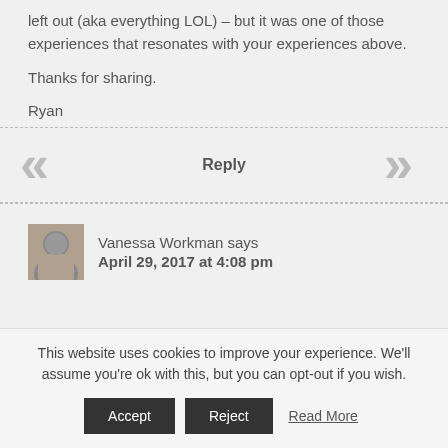left out (aka everything LOL) – but it was one of those experiences that resonates with your experiences above.

Thanks for sharing.

Ryan
Reply
[Figure (illustration): Navigation arrows: left double chevron (<<) and right double chevron (>>)]
[Figure (photo): Avatar image of Vanessa Workman]
Vanessa Workman says
April 29, 2017 at 4:08 pm
This website uses cookies to improve your experience. We'll assume you're ok with this, but you can opt-out if you wish.